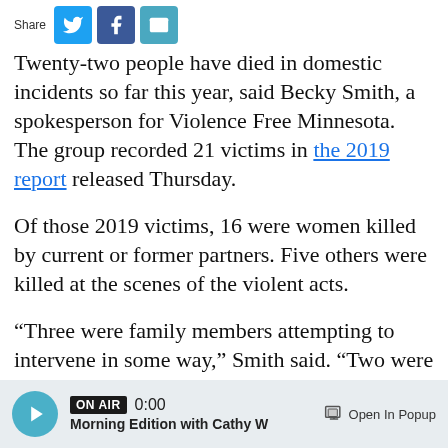[Figure (other): Share bar with Twitter, Facebook, and email icons]
Twenty-two people have died in domestic incidents so far this year, said Becky Smith, a spokesperson for Violence Free Minnesota. The group recorded 21 victims in the 2019 report released Thursday.
Of those 2019 victims, 16 were women killed by current or former partners. Five others were killed at the scenes of the violent acts.
“Three were family members attempting to intervene in some way,” Smith said. “Two were children shot alongside their mother in their front yard.”
[Figure (other): Audio player bar — ON AIR badge, time 0:00, Morning Edition with Cathy W, Open In Popup button]